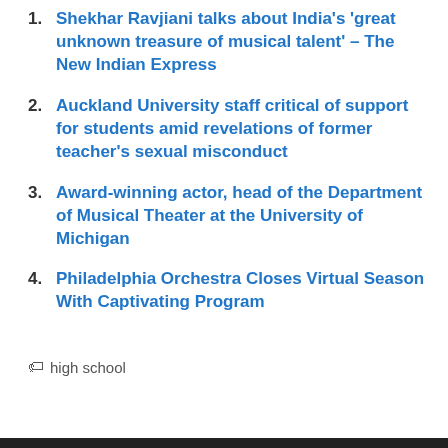1. Shekhar Ravjiani talks about India's 'great unknown treasure of musical talent' – The New Indian Express
2. Auckland University staff critical of support for students amid revelations of former teacher's sexual misconduct
3. Award-winning actor, head of the Department of Musical Theater at the University of Michigan
4. Philadelphia Orchestra Closes Virtual Season With Captivating Program
🏷 high school